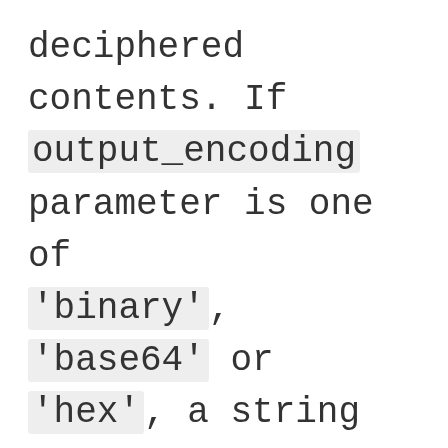deciphered contents. If output_encoding parameter is one of 'binary', 'base64' or 'hex', a string is returned. If an output_encoding is not provided, a Buffer is